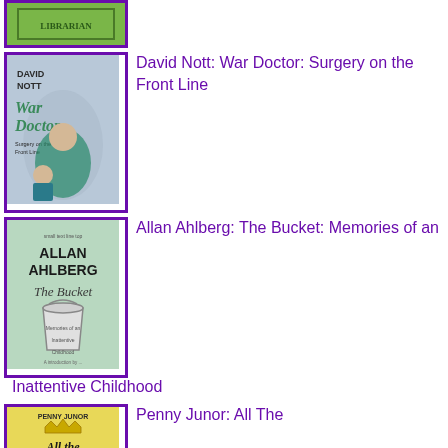[Figure (photo): Top portion of a book cover with green background and text LIBRARIAN, with purple border]
[Figure (photo): Book cover: David Nott - War Doctor: Surgery on the Front Line, showing author in surgical scrubs with a child patient, purple border]
David Nott: War Doctor: Surgery on the Front Line
[Figure (photo): Book cover: Allan Ahlberg - The Bucket: Memories of an Inattentive Childhood, showing a bucket illustration on green background, purple border]
Allan Ahlberg: The Bucket: Memories of an Inattentive Childhood
[Figure (photo): Book cover: Penny Junor - All The Queen's Corgis, yellow/gold background, purple border, partially visible]
Penny Junor: All The